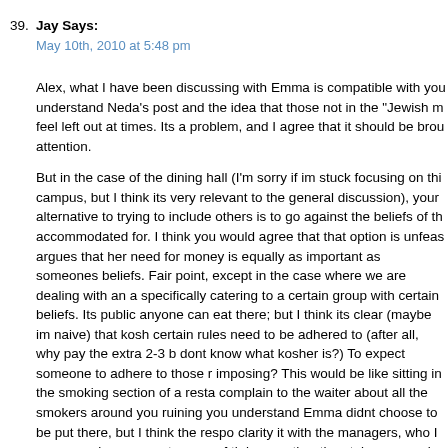39. Jay Says:
May 10th, 2010 at 5:48 pm
Alex, what I have been discussing with Emma is compatible with you understand Neda's post and the idea that those not in the "Jewish m feel left out at times. Its a problem, and I agree that it should be brou attention.
But in the case of the dining hall (I'm sorry if im stuck focusing on thi campus, but I think its very relevant to the general discussion), your alternative to trying to include others is to go against the beliefs of th accommodated for. I think you would agree that that option is unfeas argues that her need for money is equally as important as someones beliefs. Fair point, except in the case where we are dealing with an a specifically catering to a certain group with certain beliefs. Its public anyone can eat there; but I think its clear (maybe im naive) that kosh certain rules need to be adhered to (after all, why pay the extra 2-3 b dont know what kosher is?) To expect someone to adhere to those r imposing? This would be like sitting in the smoking section of a resta complain to the waiter about all the smokers around you ruining you understand Emma didnt choose to be put there, but I think the respo clarity it with the managers, who I am assuming were not aware of th laws, rather than take personal offense when people realize their law come to the hall for are not being upheld. In general, do I think that t where campus gives off a sense of exclusivity that can be difficult fo of the loop? Absolutely. But in certain cases, including (in my opinion